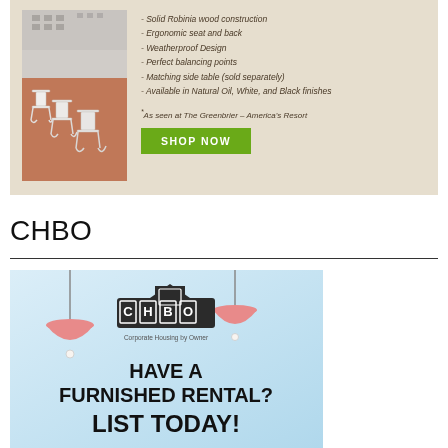[Figure (illustration): Advertisement for outdoor rocking chairs on beige background. Photo of white rocking chairs on a patio on the left. Features list and SHOP NOW button on the right.]
- Solid Robinia wood construction
- Ergonomic seat and back
- Weatherproof Design
- Perfect balancing points
- Matching side table (sold separately)
- Available in Natural Oil, White, and Black finishes
*As seen at The Greenbrier – America's Resort
CHBO
[Figure (illustration): CHBO (Corporate Housing by Owner) advertisement with light blue background, pendant lamp illustrations, CHBO logo, and text: HAVE A FURNISHED RENTAL? LIST TODAY!]